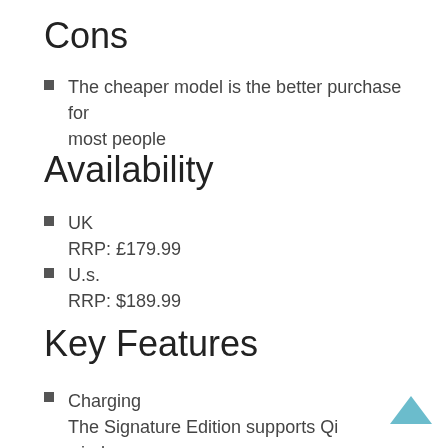Cons
The cheaper model is the better purchase for most people
Availability
UK
RRP: £179.99
U.s.
RRP: $189.99
Key Features
Charging
The Signature Edition supports Qi wireless charging